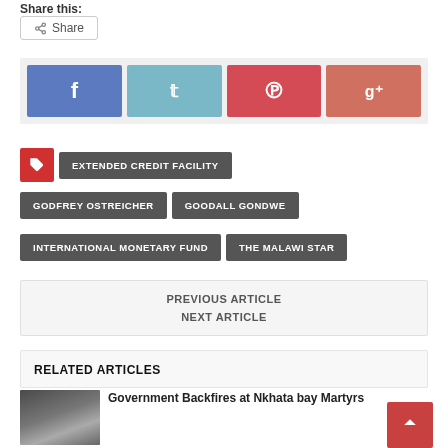Share this:
Share
[Figure (screenshot): Social sharing buttons: Facebook (blue), Twitter (light blue), Pinterest (red), Google+ (salmon/red)]
EXTENDED CREDIT FACILITY
GODFREY OSTREICHER
GOODALL GONDWE
INTERNATIONAL MONETARY FUND
THE MALAWI STAR
PREVIOUS ARTICLE
NEXT ARTICLE
RELATED ARTICLES
Government Backfires at Nkhata bay Martyrs